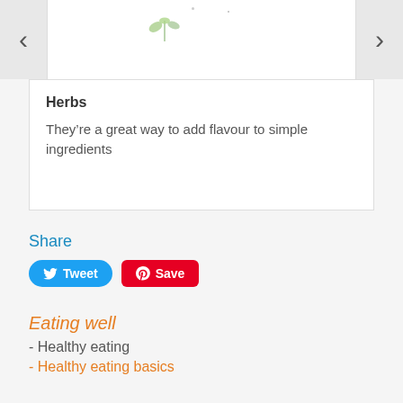[Figure (screenshot): Carousel navigation with left and right arrow buttons and a white content area showing herbs image at top]
Herbs
They’re a great way to add flavour to simple ingredients
Share
[Figure (infographic): Tweet button (blue, rounded) and Save button (red, Pinterest style)]
Eating well
- Healthy eating
- Healthy eating basics